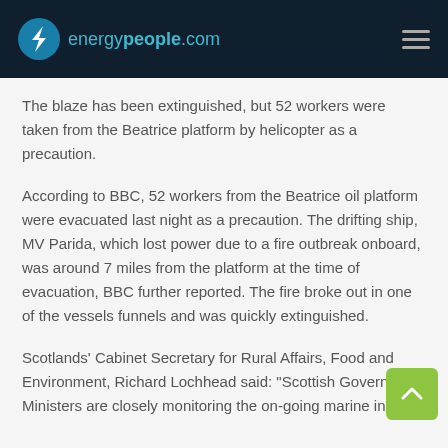energypeople.com
The blaze has been extinguished, but 52 workers were taken from the Beatrice platform by helicopter as a precaution.
According to BBC, 52 workers from the Beatrice oil platform were evacuated last night as a precaution. The drifting ship, MV Parida, which lost power due to a fire outbreak onboard, was around 7 miles from the platform at the time of evacuation, BBC further reported. The fire broke out in one of the vessels funnels and was quickly extinguished.
Scotlands’ Cabinet Secretary for Rural Affairs, Food and Environment, Richard Lochhead said: “Scottish Government Ministers are closely monitoring the on-going marine incident